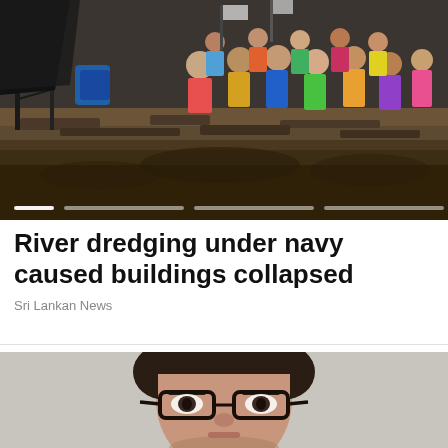[Figure (photo): Construction/dredging scene with people gathered near excavated earth and scaffolding, with a crowd of onlookers in colorful clothing in the background]
River dredging under navy caused buildings collapsed
Sri Lankan News
[Figure (photo): Portrait photo of a man with dark curly hair wearing black-rimmed glasses, on a light gray background]